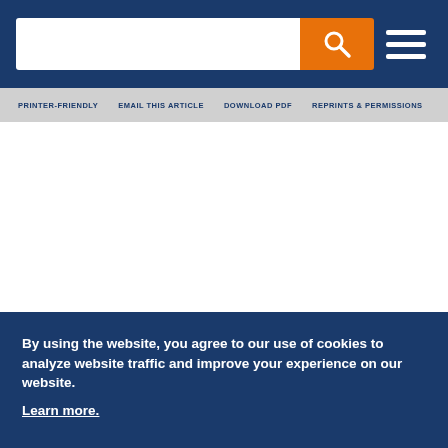[Search bar with orange search button and hamburger menu icon]
PRINTER-FRIENDLY EMAIL THIS ARTICLE DOWNLOAD PDF REPRINTS & PERMISSIONS
By using the website, you agree to our use of cookies to analyze website traffic and improve your experience on our website. Learn more.